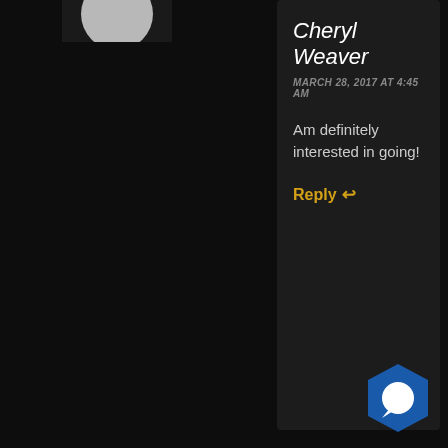Cheryl Weaver
MARCH 28, 2017 AT 4:45 AM
Am definitely interested in going!
Reply ↩
[Figure (photo): Headshot photo of Larry Nemecek, a man with a mustache and beard]
post author
Larry Nemecek
MARCH 28, 2017 AT 11:29 AM
Hope to see you then!
Reply ↩